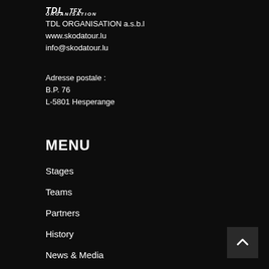[Figure (logo): TDL Organisation logo in white italic bold text on dark background]
TDL ORGANISATION a.s.b.l
www.skodatour.lu
info@skodatour.lu
Adresse postale :
B.P. 76
L-5801 Hesperange
MENU
Stages
Teams
Partners
History
News & Media